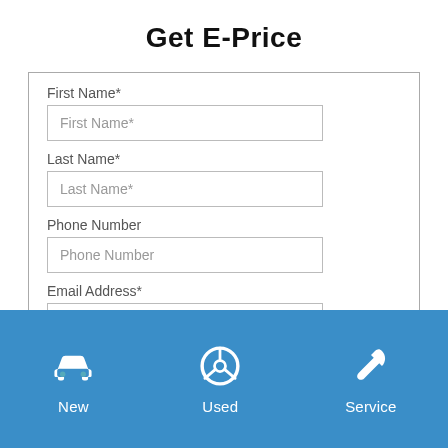Get E-Price
First Name*
First Name*
Last Name*
Last Name*
Phone Number
Phone Number
Email Address*
Email Address*
Captcha
[Figure (screenshot): Navigation footer bar with blue background containing three icons and labels: a car icon labeled 'New', a steering wheel icon labeled 'Used', and a wrench icon labeled 'Service']